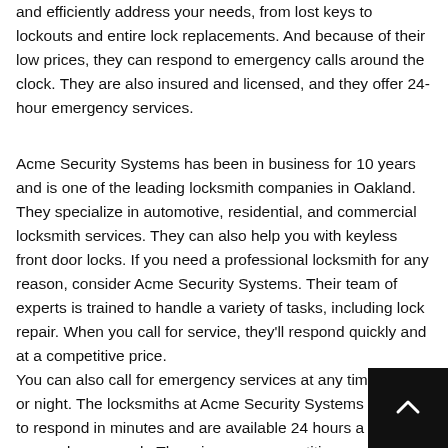and efficiently address your needs, from lost keys to lockouts and entire lock replacements. And because of their low prices, they can respond to emergency calls around the clock. They are also insured and licensed, and they offer 24-hour emergency services.
Acme Security Systems has been in business for 10 years and is one of the leading locksmith companies in Oakland. They specialize in automotive, residential, and commercial locksmith services. They can also help you with keyless front door locks. If you need a professional locksmith for any reason, consider Acme Security Systems. Their team of experts is trained to handle a variety of tasks, including lock repair. When you call for service, they'll respond quickly and at a competitive price.
You can also call for emergency services at any time of day or night. The locksmiths at Acme Security Systems are able to respond in minutes and are available 24 hours a day, seven days a week. The prices are competitive, and they're reliable and